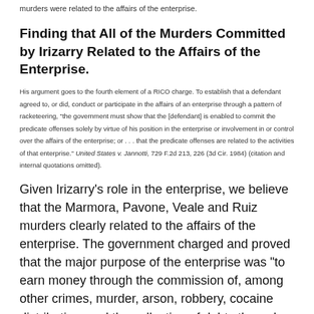murders were related to the affairs of the enterprise.
Finding that All of the Murders Committed by Irizarry Related to the Affairs of the Enterprise.
His argument goes to the fourth element of a RICO charge. To establish that a defendant agreed to, or did, conduct or participate in the affairs of an enterprise through a pattern of racketeering, "the government must show that the [defendant] is enabled to commit the predicate offenses solely by virtue of his position in the enterprise or involvement in or control over the affairs of the enterprise; or . . . that the predicate offenses are related to the activities of that enterprise." United States v. Jannotti, 729 F.2d 213, 226 (3d Cir. 1984) (citation and internal quotations omitted).
Given Irizarry's role in the enterprise, we believe that the Marmora, Pavone, Veale and Ruiz murders clearly related to the affairs of the enterprise. The government charged and proved that the major purpose of the enterprise was "to earn money through the commission of, among other crimes, murder, arson, robbery, cocaine distribution, and the collection of debts through means of extortion." Second Superseding indictment at p. 2. The large-scale drug-dealing enterprise had